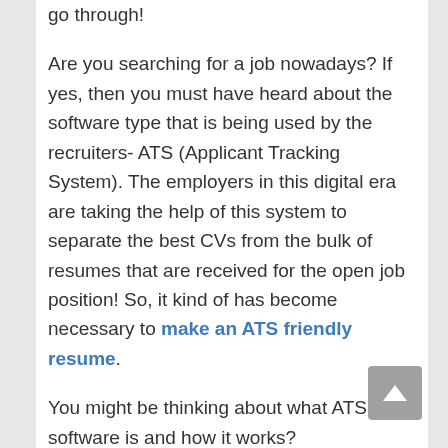go through!
Are you searching for a job nowadays? If yes, then you must have heard about the software type that is being used by the recruiters- ATS (Applicant Tracking System). The employers in this digital era are taking the help of this system to separate the best CVs from the bulk of resumes that are received for the open job position! So, it kind of has become necessary to make an ATS friendly resume.
You might be thinking about what ATS software is and how it works?
Well, we have got your back right here! In this short guide, you will get to know the process through which ATS works. Also, we are going to share some tips that would make your resume ATS